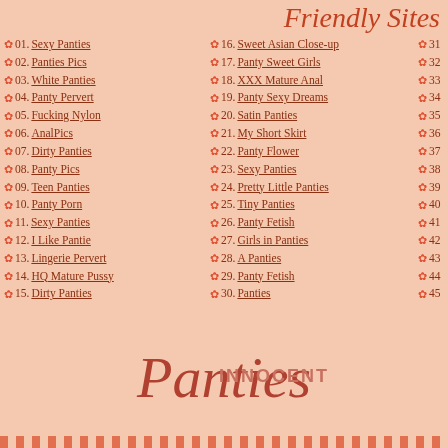Friendly Sites
01. Sexy Panties
02. Panties Pics
03. White Panties
04. Panty Pervert
05. Fucking Nylon
06. AnalPics
07. Dirty Panties
08. Panty Pics
09. Teen Panties
10. Panty Porn
11. Sexy Panties
12. I Like Pantie
13. Lingerie Pervert
14. HQ Mature Pussy
15. Dirty Panties
16. Sweet Asian Close-up
17. Panty Sweet Girls
18. XXX Mature Anal
19. Panty Sexy Dreams
20. Satin Panties
21. My Short Skirt
22. Panty Flower
23. Sexy Panties
24. Pretty Little Panties
25. Tiny Panties
26. Panty Fetish
27. Girls in Panties
28. A Panties
29. Panty Fetish
30. Panties
31
32
33
34
35
36
37
38
39
40
41
42
43
44
45
INNOCENT Panties